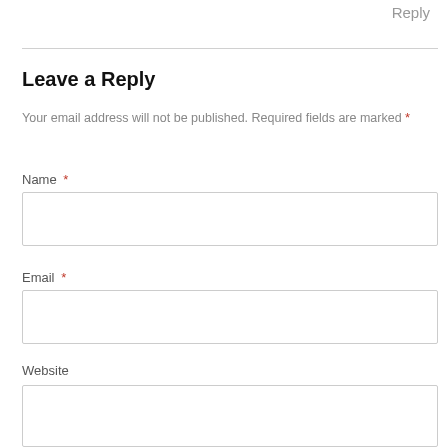Reply
Leave a Reply
Your email address will not be published. Required fields are marked *
Name *
Email *
Website